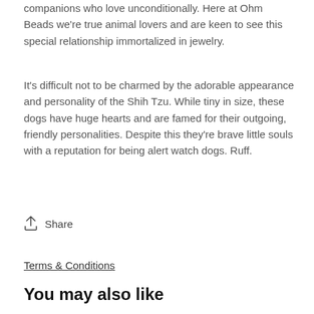companions who love unconditionally. Here at Ohm Beads we're true animal lovers and are keen to see this special relationship immortalized in jewelry.
It's difficult not to be charmed by the adorable appearance and personality of the Shih Tzu. While tiny in size, these dogs have huge hearts and are famed for their outgoing, friendly personalities. Despite this they're brave little souls with a reputation for being alert watch dogs. Ruff.
Share
Terms & Conditions
You may also like